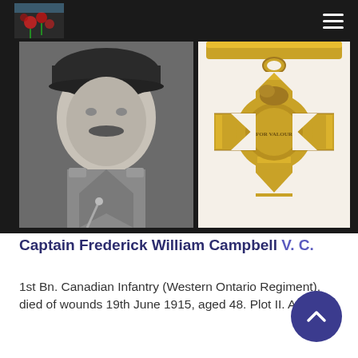WWI Memorial site header with logo and navigation
[Figure (photo): Black and white portrait photograph of Captain Frederick William Campbell in military uniform with cap and moustache]
[Figure (photo): Photograph of the Victoria Cross medal, a bronze Maltese cross with a crown and lion at top and circular centre medallion with inscription FOR VALOUR]
Captain Frederick William Campbell V. C.
1st Bn. Canadian Infantry (Western Ontario Regiment), died of wounds 19th June 1915, aged 48. Plot II. A. 24.